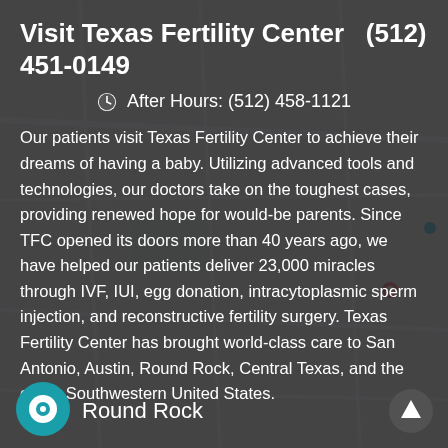Visit Texas Fertility Center  (512) 451-0149
🕐 After Hours: (512) 458-1121
Our patients visit Texas Fertility Center to achieve their dreams of having a baby. Utilizing advanced tools and technologies, our doctors take on the toughest cases, providing renewed hope for would-be parents. Since TFC opened its doors more than 40 years ago, we have helped our patients deliver 23,000 miracles through IVF, IUI, egg donation, intracytoplasmic sperm injection, and reconstructive fertility surgery. Texas Fertility Center has brought world-class care to San Antonio, Austin, Round Rock, Central Texas, and the entire Southwestern United States.
Round Rock